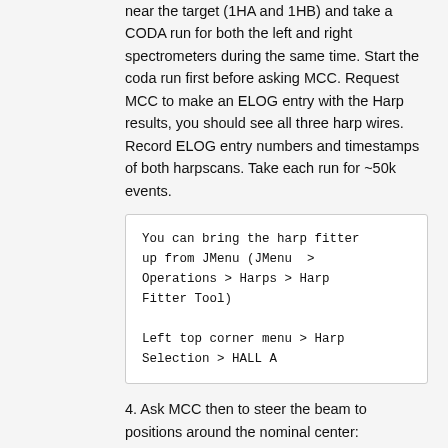near the target (1HA and 1HB) and take a CODA run for both the left and right spectrometers during the same time. Start the coda run first before asking MCC. Request MCC to make an ELOG entry with the Harp results, you should see all three harp wires. Record ELOG entry numbers and timestamps of both harpscans. Take each run for ~50k events.
You can bring the harp fitter up from JMenu (JMenu > Operations > Harps > Harp Fitter Tool)

Left top corner menu > Harp Selection > HALL A
4. Ask MCC then to steer the beam to positions around the nominal center:
- cover at least the area the raster will cover: (2,2), (2,-2), (-2,-2), (-2,2), and repeat (0,0)
     - repeat harp and CODA runs